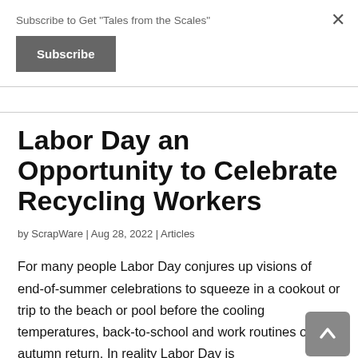Subscribe to Get "Tales from the Scales"
Subscribe
Labor Day an Opportunity to Celebrate Recycling Workers
by ScrapWare | Aug 28, 2022 | Articles
For many people Labor Day conjures up visions of end-of-summer celebrations to squeeze in a cookout or trip to the beach or pool before the cooling temperatures, back-to-school and work routines of autumn return. In reality Labor Day is